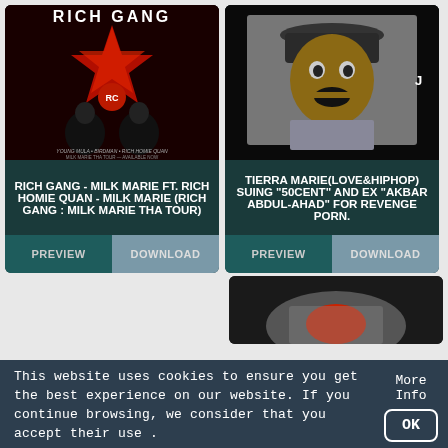[Figure (photo): Rich Gang promotional image with red star graphic and artist faces, dark red background with 'RICH GANG' title text]
RICH GANG - MILK MARIE FT. RICH HOMIE QUAN - MILK MARIE (RICH GANG : MILK MARIE THA TOUR)
PREVIEW
DOWNLOAD
[Figure (photo): Man wearing a bucket hat speaking, black background, appears to be a video thumbnail]
TIERRA MARIE(LOVE&HIPHOP) SUING "50CENT" AND EX "AKBAR ABDUL-AHAD" FOR REVENGE PORN.
PREVIEW
DOWNLOAD
[Figure (photo): Partial bottom-right thumbnail showing a dark scene, partially visible]
This website uses cookies to ensure you get the best experience on our website. If you continue browsing, we consider that you accept their use .
More Info
OK